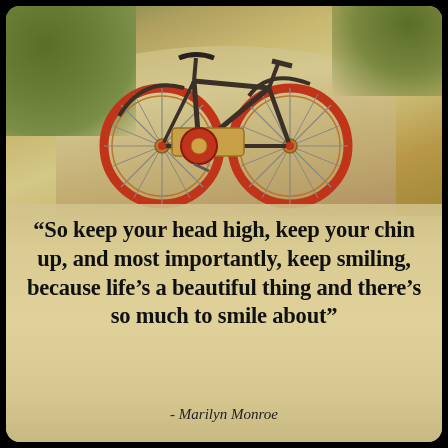[Figure (illustration): Vintage-style bicycle with red wheel rims and bamboo frame detail, parked on a dirt road path with green foliage in background. Warm, sepia-toned Instagram-style photo filter applied.]
“So keep your head high, keep your chin up, and most importantly, keep smiling, because life’s a beautiful thing and there’s so much to smile about”
- Marilyn Monroe